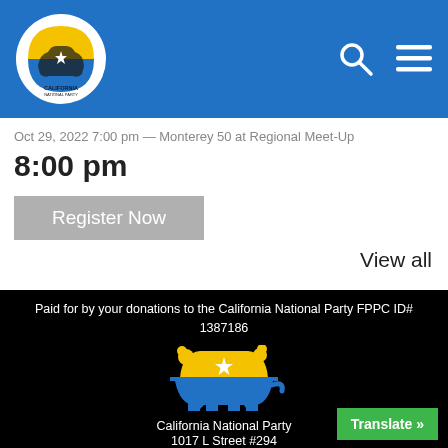[Figure (logo): California National Party logo: circular white background with a bear silhouette and yellow/blue design, text 'CALIFORNIA NATIONAL PARTY' around the bottom]
Oct 29, 2022 7:00 pm — Monterey 50 at Regional Meet-Up
8:00 pm
Register Now
View all
Paid for by your donations to the California National Party FPPC ID# 1387186
[Figure (logo): California National Party bear logo: yellow upper half bear with white star and blue lower half bear silhouette on black background]
California National Party
1017 L Street #294
Sacramento, CA 95814
(818) 970 2241